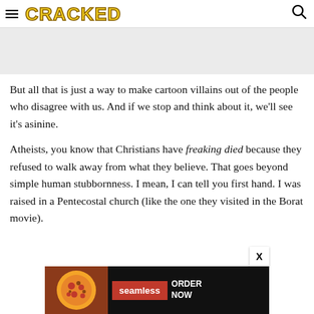CRACKED
[Figure (other): Gray advertisement placeholder banner]
But all that is just a way to make cartoon villains out of the people who disagree with us. And if we stop and think about it, we'll see it's asinine.
Atheists, you know that Christians have freaking died because they refused to walk away from what they believe. That goes beyond simple human stubbornness. I mean, I can tell you first hand. I was raised in a Pentecostal church (like the one they visited in the Borat movie).
[Figure (other): Seamless food delivery advertisement showing pizza with ORDER NOW button]